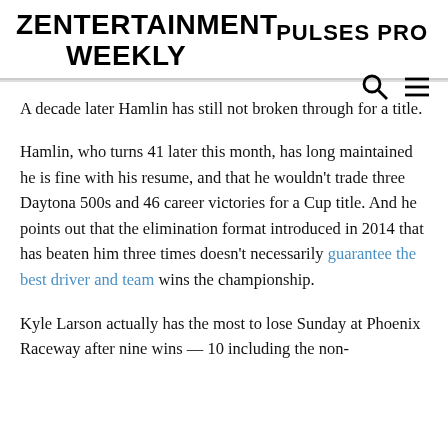ZENTERTAINMENT WEEKLY   PULSES PRO
A decade later Hamlin has still not broken through for a title.
Hamlin, who turns 41 later this month, has long maintained he is fine with his resume, and that he wouldn't trade three Daytona 500s and 46 career victories for a Cup title. And he points out that the elimination format introduced in 2014 that has beaten him three times doesn't necessarily guarantee the best driver and team wins the championship.
Kyle Larson actually has the most to lose Sunday at Phoenix Raceway after nine wins — 10 including the non-